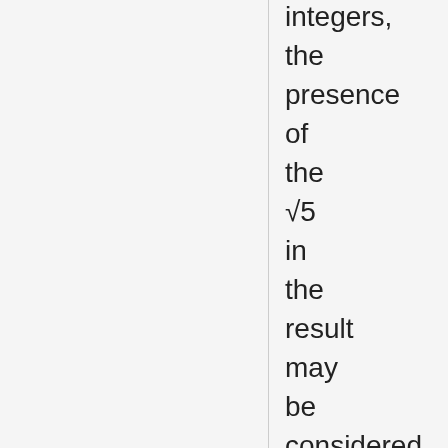integers, the presence of the √5 in the result may be considered as "unaesthetic" from